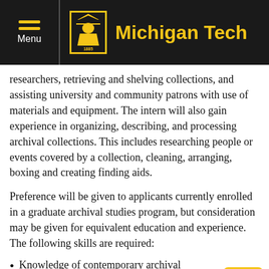Michigan Tech
researchers, retrieving and shelving collections, and assisting university and community patrons with use of materials and equipment. The intern will also gain experience in organizing, describing, and processing archival collections. This includes researching people or events covered by a collection, cleaning, arranging, boxing and creating finding aids.
Preference will be given to applicants currently enrolled in a graduate archival studies program, but consideration may be given for equivalent education and experience. The following skills are required:
Knowledge of contemporary archival practices, policies, and procedures, including arrangement and